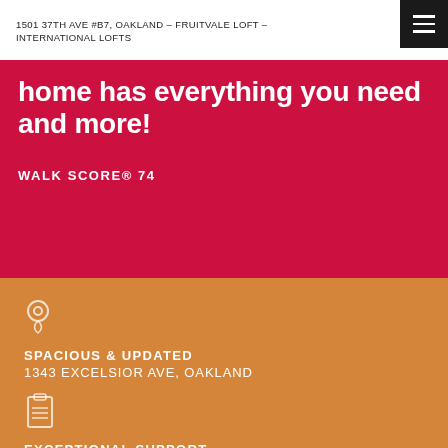1501 37TH AVE #B7, OAKLAND – FRUITVALE LOFT – INTERNATIONAL LOFTS
home has everything you need and more!
WALK SCORE® 74
SPACIOUS & UPDATED
1343 EXCELSIOR AVE, OAKLAND
EXCEPTIONAL SUPPORT
MATT@URBANMODERNHOMES.COM